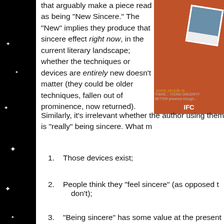that arguably make a piece read as being “New Sincere.” The “New” implies they produce that sincere effect right now, in the current literary landscape; whether the techniques or devices are entirely new doesn’t matter (they could be older techniques, fallen out of prominence, now returned). Similarly, it’s irrelevant whether the author using them is “really” being sincere. What m
[Figure (photo): Movie poster/cover with orange background, IFC label, polaroid photo, text 'some people w...' and film credits]
Those devices exist;
People think they “feel sincere” (as opposed t... don’t);
“Being sincere” has some value at the present